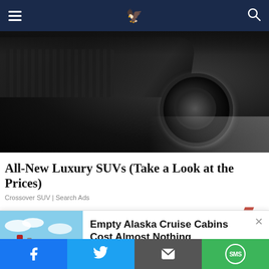DealMeCoupon (navigation bar with logo, hamburger menu, search)
[Figure (photo): Close-up of a dark luxury SUV wheel and body, dramatic low-key lighting]
All-New Luxury SUVs (Take a Look at the Prices)
Crossover SUV | Search Ads
[Figure (illustration): Lightning bolt illustration in background]
[Figure (photo): Cruise ships on ocean - ad image for Alaska Cruise Deals]
Empty Alaska Cruise Cabins Cost Almost Nothing
Alaska Cruise Deals | sponsored searches | Sponsored
Social sharing bar: Facebook, Twitter, Email, SMS